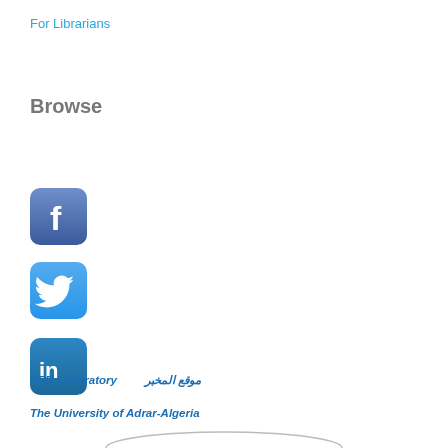For Librarians
Browse
[Figure (logo): Facebook social media icon - blue rounded square with white 'f' letter]
[Figure (logo): Twitter social media icon - blue rounded square with white bird logo]
[Figure (logo): LinkedIn social media icon - blue rounded square with white 'in' text]
SED Laboratory    موقع المخبر
The University of Adrar-Algeria
[Figure (illustration): Bottom partial oval/ellipse shape in gray]